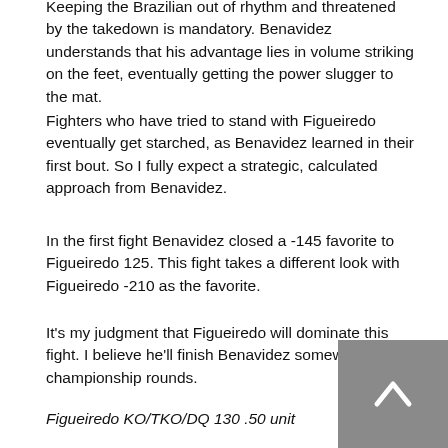Keeping the Brazilian out of rhythm and threatened by the takedown is mandatory. Benavidez understands that his advantage lies in volume striking on the feet, eventually getting the power slugger to the mat.
Fighters who have tried to stand with Figueiredo eventually get starched, as Benavidez learned in their first bout. So I fully expect a strategic, calculated approach from Benavidez.
In the first fight Benavidez closed a -145 favorite to Figueiredo 125. This fight takes a different look with Figueiredo -210 as the favorite.
It's my judgment that Figueiredo will dominate this fight. I believe he'll finish Benavidez somewhere in the championship rounds.
Figueiredo KO/TKO/DQ 130 .50 unit